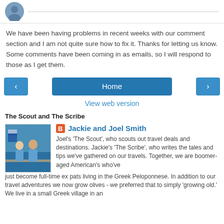[Figure (photo): User avatar circle photo at top left]
We have been having problems in recent weeks with our comment section and I am not quite sure how to fix it. Thanks for letting us know. Some comments have been coming in as emails, so I will respond to those as I get them.
[Figure (infographic): Navigation bar with left arrow button, Home button, and right arrow button]
View web version
The Scout and The Scribe
[Figure (photo): Photo of Jackie and Joel Smith on a boat with a Greek flag in background]
Jackie and Joel Smith
Joel's 'The Scout', who scouts out travel deals and destinations. Jackie's 'The Scribe', who writes the tales and tips we've gathered on our travels. Together, we are boomer-aged American's who've just become full-time ex pats living in the Greek Peloponnese. In addition to our travel adventures we now grow olives - we preferred that to simply 'growing old.' We live in a small Greek village in an